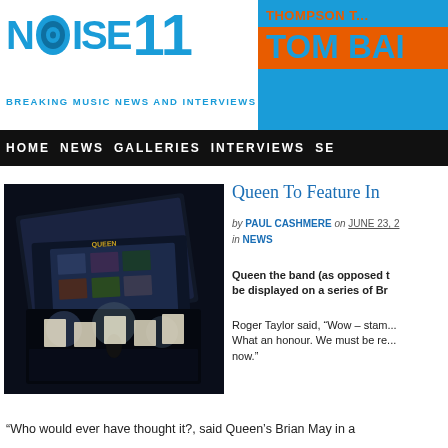NOISE11 - BREAKING MUSIC NEWS AND INTERVIEWS | THOMPSON TWINS TOM BA... | HOME NEWS GALLERIES INTERVIEWS SE...
Queen To Feature In...
by PAUL CASHMERE on JUNE 23, 2... in NEWS
[Figure (photo): Queen stamp collection products spread out showing multiple stamp sheets and packaging with band photos]
Queen the band (as opposed to... be displayed on a series of Br...
Roger Taylor said, “Wow – stam... What an honour. We must be re... now.”
“Who would ever have thought it?, said Queen’s Brian May in a...